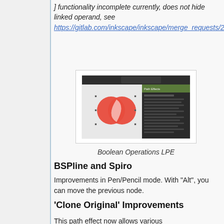] functionality incomplete currently, does not hide linked operand, see https://gitlab.com/inkscape/inkscape/merge_requests/20#note_100799480
[Figure (screenshot): Screenshot of Boolean Operations LPE in Inkscape showing two overlapping red circles with a path effects dialog panel on the right]
Boolean Operations LPE
BSPline and Spiro
Improvements in Pen/Pencil mode. With "Alt", you can move the previous node.
'Clone Original' Improvements
This path effect now allows various